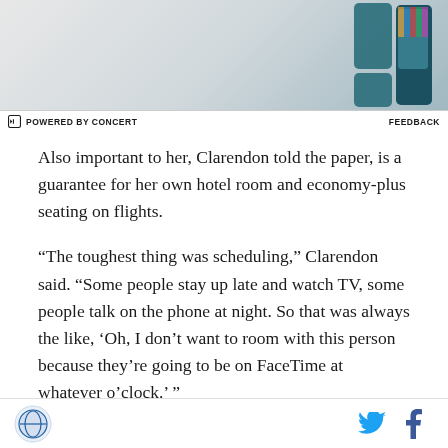[Figure (screenshot): Advertisement banner showing a Samsung Galaxy device with teal/dark green phone cases, with 'POWERED BY CONCERT' logo and 'FEEDBACK' link at bottom]
Also important to her, Clarendon told the paper, is a guarantee for her own hotel room and economy-plus seating on flights.
“The toughest thing was scheduling,” Clarendon said. “Some people stay up late and watch TV, some people talk on the phone at night. So that was always the like, ‘Oh, I don’t want to room with this person because they’re going to be on FaceTime at whatever o’clock.’ ”
Clarendon and her wife plan to start a family, she said.
Site logo | Twitter icon | Facebook icon